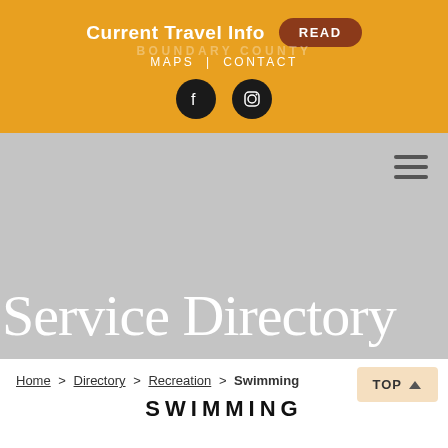Current Travel Info | READ | MAPS | CONTACT
[Figure (screenshot): Gray hero banner with hamburger menu icon and large white serif text reading 'Service Directory']
Home > Directory > Recreation > Swimming
SWIMMING